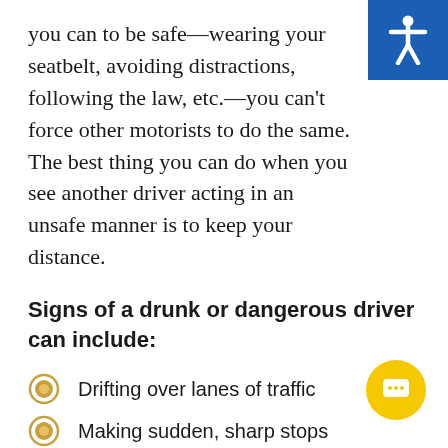you can to be safe—wearing your seatbelt, avoiding distractions, following the law, etc.—you can't force other motorists to do the same. The best thing you can do when you see another driver acting in an unsafe manner is to keep your distance.
Signs of a drunk or dangerous driver can include:
Drifting over lanes of traffic
Making sudden, sharp stops
Swerving or overcorrecting
Stopping too soon or too late